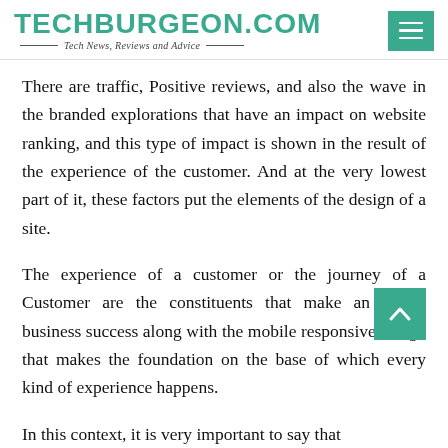TECHBURGEON.COM — Tech News, Reviews and Advice
There are traffic, Positive reviews, and also the wave in the branded explorations that have an impact on website ranking, and this type of impact is shown in the result of the experience of the customer. And at the very lowest part of it, these factors put the elements of the design of a site.
The experience of a customer or the journey of a Customer are the constituents that make an online business success along with the mobile responsive design that makes the foundation on the base of which every kind of experience happens.
In this context, it is very important to say that